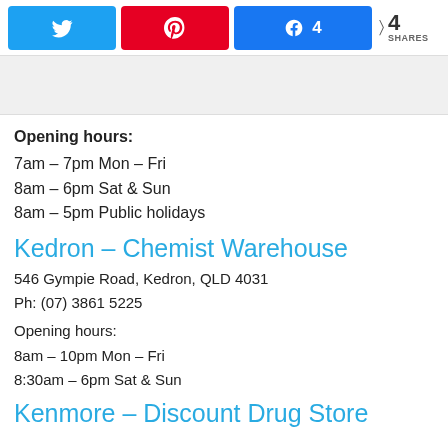[Figure (screenshot): Social share buttons: Twitter (blue), Pinterest (red), Facebook (blue with count 4), and share count showing 4 SHARES]
Opening hours:
7am – 7pm Mon – Fri
8am – 6pm Sat & Sun
8am – 5pm Public holidays
Kedron – Chemist Warehouse
546 Gympie Road, Kedron, QLD 4031
Ph: (07) 3861 5225
Opening hours:
8am – 10pm Mon – Fri
8:30am – 6pm Sat & Sun
Kenmore – Discount Drug Store